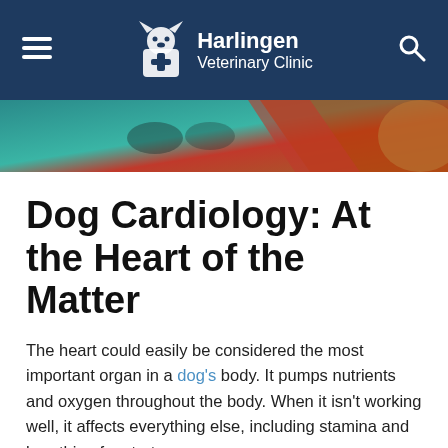Harlingen Veterinary Clinic
[Figure (photo): Close-up photo of a dog on a teal/green surface with a red strap or leash visible]
Dog Cardiology: At the Heart of the Matter
The heart could easily be considered the most important organ in a dog's body. It pumps nutrients and oxygen throughout the body. When it isn't working well, it affects everything else, including stamina and breathing for starters.
What is Dog Cardiology?